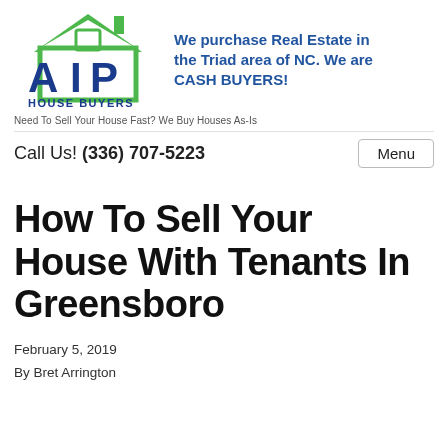[Figure (logo): AIP House Buyers logo with green house roof outline and blue AIP letters]
We purchase Real Estate in the Triad area of NC. We are CASH BUYERS!
Need To Sell Your House Fast? We Buy Houses As-Is
Call Us! (336) 707-5223
Menu
How To Sell Your House With Tenants In Greensboro
February 5, 2019
By Bret Arrington